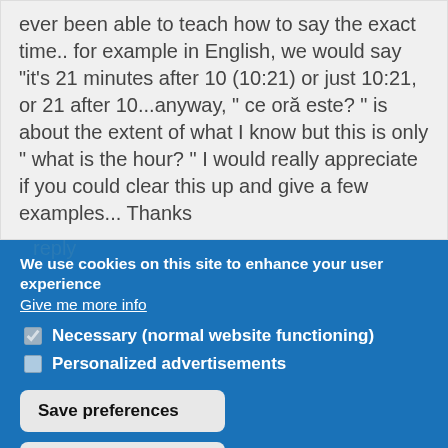ever been able to teach how to say the exact time.. for example in English, we would say "it's 21 minutes after 10 (10:21) or just 10:21, or 21 after 10...anyway, " ce oră este? " is about the extent of what I know but this is only " what is the hour? " I would really appreciate if you could clear this up and give a few examples... Thanks
reply
We use cookies on this site to enhance your user experience
Give me more info
Necessary (normal website functioning)
Personalized advertisements
Save preferences
Accept all cookies